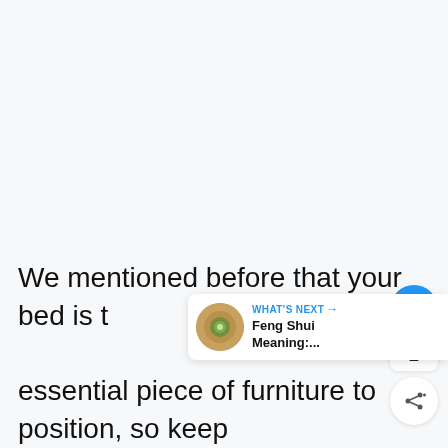[Figure (screenshot): Blank light gray area representing a webpage content area with social interaction buttons (heart/like button in blue circle, share count badge showing '2', share button in white circle) on the right side, and a 'What's Next' widget showing 'Feng Shui Meaning:...' with a thumbnail image.]
We mentioned before that your bed is the essential piece of furniture to position, so keep